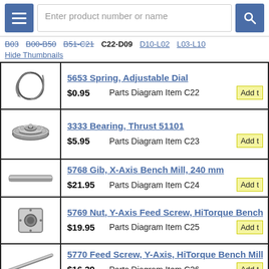Enter product number or name
B03 B00-B50 B51-C21 C22-D09 D10-L02 L03-L10
Hide Thumbnails
| Image | Product | Price | Diagram | Action |
| --- | --- | --- | --- | --- |
| [spring image] | 5653 Spring, Adjustable Dial | $0.95 | Parts Diagram Item C22 | Add t |
| [bearing image] | 3333 Bearing, Thrust 51101 | $5.95 | Parts Diagram Item C23 | Add t |
| [gib image] | 5768 Gib, X-Axis Bench Mill, 240 mm | $21.95 | Parts Diagram Item C24 | Add t |
| [nut image] | 5769 Nut, Y-Axis Feed Screw, HiTorque Bench | $19.95 | Parts Diagram Item C25 | Add t |
| [screw image] | 5770 Feed Screw, Y-Axis, HiTorque Bench Mill | $16.39 | Parts Diagram Item C26 | Add t |
| [cap screw image] | 1535 Cap Screw, M5x20, Socket Head |  |  |  |